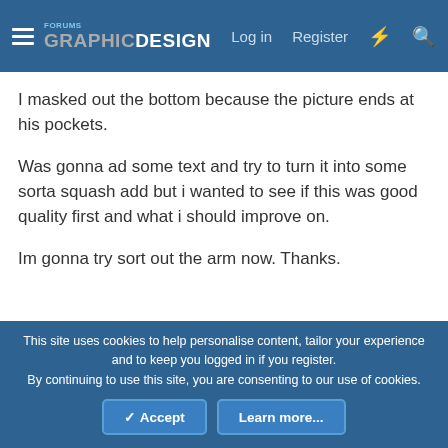GraphicDesign Forums — Log in  Register
I masked out the bottom because the picture ends at his pockets.
Was gonna ad some text and try to turn it into some sorta squash add but i wanted to see if this was good quality first and what i should improve on.
Im gonna try sort out the arm now. Thanks.
ahcstudio
Member
This site uses cookies to help personalise content, tailor your experience and to keep you logged in if you register.
By continuing to use this site, you are consenting to our use of cookies.